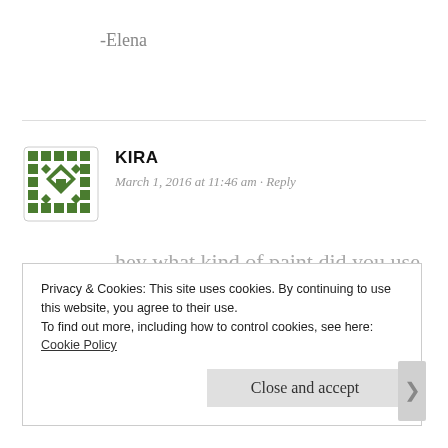-Elena
[Figure (illustration): Green geometric avatar icon with square pattern and diamond shapes]
KIRA
March 1, 2016 at 11:46 am · Reply
hey what kind of paint did you use
Privacy & Cookies: This site uses cookies. By continuing to use this website, you agree to their use.
To find out more, including how to control cookies, see here:
Cookie Policy
Close and accept